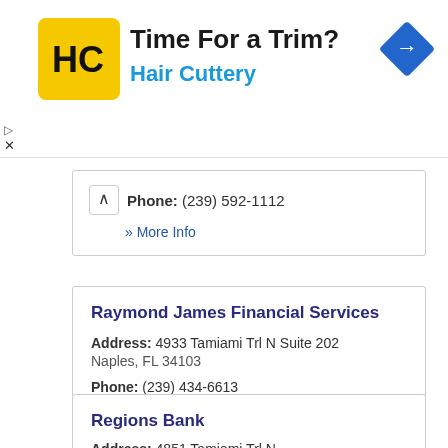[Figure (advertisement): Hair Cuttery advertisement banner with yellow logo showing HC initials, text 'Time For a Trim?' and 'Hair Cuttery' in blue, blue diamond navigation arrow icon on right]
Phone: (239) 592-1112
» More Info
Raymond James Financial Services
Address: 4933 Tamiami Trl N Suite 202 Naples, FL 34103
Phone: (239) 434-6613
» More Info
Regions Bank
Address: 4851 Tamiami Trl N